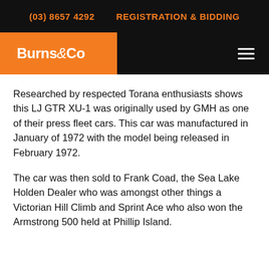(03) 8657 4292    REGISTRATION & BIDDING
[Figure (logo): Burns & Co logo — white bold text on orange background]
Researched by respected Torana enthusiasts shows this LJ GTR XU-1 was originally used by GMH as one of their press fleet cars. This car was manufactured in January of 1972 with the model being released in February 1972.
The car was then sold to Frank Coad, the Sea Lake Holden Dealer who was amongst other things a Victorian Hill Climb and Sprint Ace who also won the Armstrong 500 held at Phillip Island.